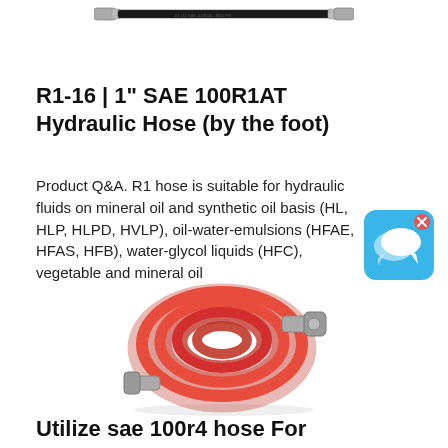[Figure (photo): A black hydraulic hose with metal fittings on both ends, shown horizontally at the top of the page.]
R1-16 | 1" SAE 100R1AT Hydraulic Hose (by the foot)
Product Q&A. R1 hose is suitable for hydraulic fluids on mineral oil and synthetic oil basis (HL, HLP, HLPD, HVLP), oil-water-emulsions (HFAE, HFAS, HFB), water-glycol liquids (HFC), vegetable and mineral oil
[Figure (illustration): Blue speech bubble / chat icon on a light blue rounded square background with an X button.]
[Figure (photo): A coiled red hydraulic hose with silver metal fittings at both ends, shown on a white background.]
Utilize sae 100r4 hose For